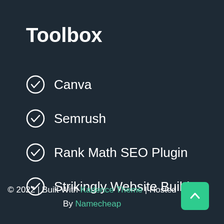Toolbox
Canva
Semrush
Rank Math SEO Plugin
Strikingly Website Builder
© 2022 | Built With Kadence Theme | Hosted By Namecheap